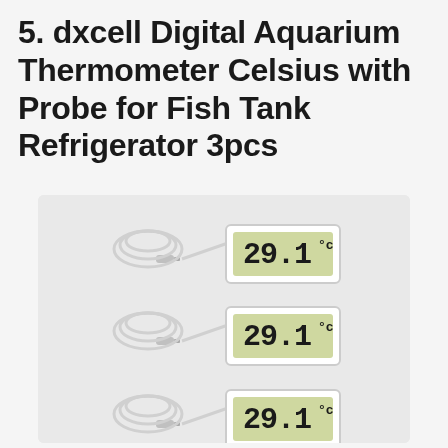5. dxcell Digital Aquarium Thermometer Celsius with Probe for Fish Tank Refrigerator 3pcs
[Figure (photo): Three digital aquarium thermometers with white probe cables, each displaying 29.1°C on a green LCD screen, arranged vertically.]